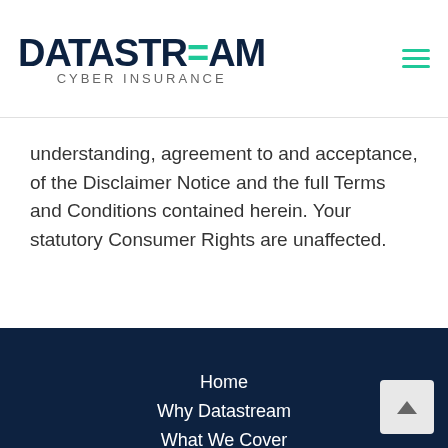DATASTREAM CYBER INSURANCE
understanding, agreement to and acceptance, of the Disclaimer Notice and the full Terms and Conditions contained herein. Your statutory Consumer Rights are unaffected.
Home
Why Datastream
What We Cover